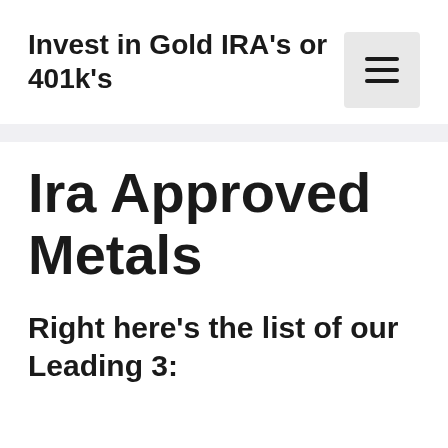Invest in Gold IRA's or 401k's
[Figure (other): hamburger menu button icon with three horizontal lines]
Ira Approved Metals
Right here's the list of our Leading 3: